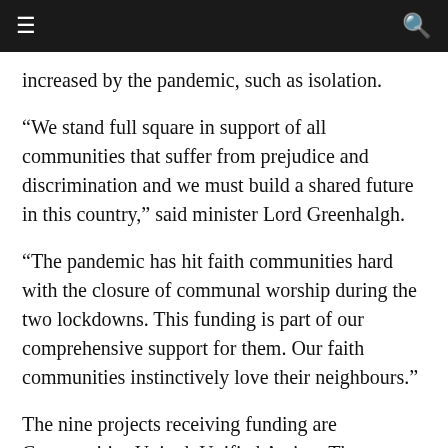≡  🔍
increased by the pandemic, such as isolation.
“We stand full square in support of all communities that suffer from prejudice and discrimination and we must build a shared future in this country,” said minister Lord Greenhalgh.
“The pandemic has hit faith communities hard with the closure of communal worship during the two lockdowns. This funding is part of our comprehensive support for them. Our faith communities instinctively love their neighbours.”
The nine projects receiving funding are Communities United, Unified Action, The